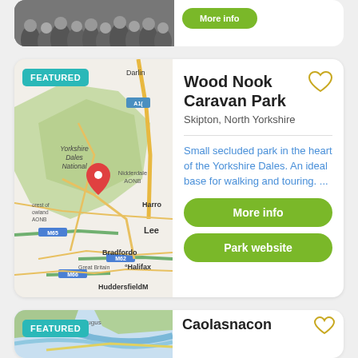[Figure (screenshot): Partial top card with black and white group photo and a green button]
[Figure (map): Google Maps view showing Yorkshire Dales National Park area with a red location pin near Skipton, showing Bradford, Harrogate, Huddersfield, M65, M62, M66 motorways, Nidderdale AONB, Forest of Bowland AONB labels]
FEATURED
Wood Nook Caravan Park
Skipton, North Yorkshire
Small secluded park in the heart of the Yorkshire Dales. An ideal base for walking and touring. ...
More info
Park website
[Figure (screenshot): Partial bottom card showing a map near Fort Augustus and beginning of Caolasnacon listing]
FEATURED
Caolasnacon